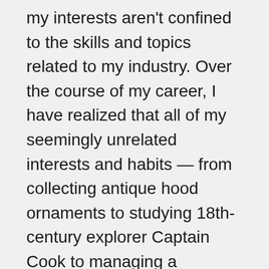my interests aren't confined to the skills and topics related to my industry. Over the course of my career, I have realized that all of my seemingly unrelated interests and habits — from collecting antique hood ornaments to studying 18th-century explorer Captain Cook to managing a company — complement one another to make me a more powerful, well-rounded, and overall content executive.
The concept that creative outlets improve work performance applies across industries and hobbies. A survey from San Francisco State University found that workers who pursued creative activities outside of work — from